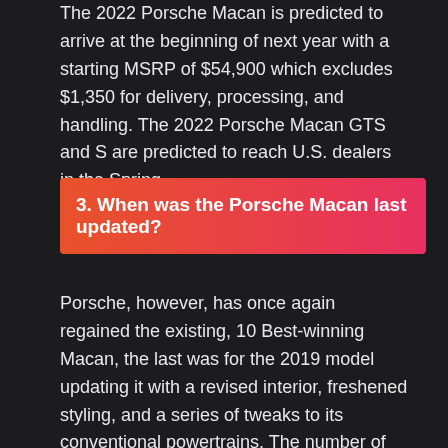The 2022 Porsche Macan is predicted to arrive at the beginning of next year with a starting MSRP of $54,900 which excludes $1,350 for delivery, processing, and handling. The 2022 Porsche Macan GTS and S are predicted to reach U.S. dealers in the Spring.
3. When was the Porsche Macan last updated?
Porsche, however, has once again regained the existing, 10 Best-winning Macan, the last was for the 2019 model updating it with a revised interior, freshened styling, and a series of tweaks to its conventional powertrains. The number of models within the lineup also has decreased.